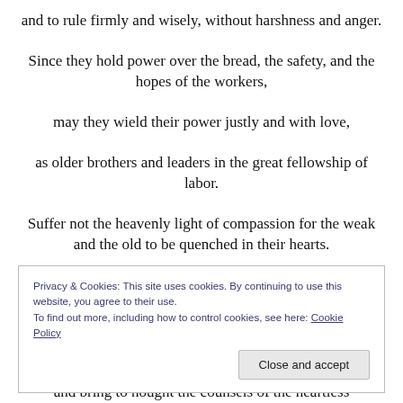and to rule firmly and wisely, without harshness and anger.
Since they hold power over the bread, the safety, and the hopes of the workers,
may they wield their power justly and with love,
as older brothers and leaders in the great fellowship of labor.
Suffer not the heavenly light of compassion for the weak and the old to be quenched in their hearts.
Privacy & Cookies: This site uses cookies. By continuing to use this website, you agree to their use.
To find out more, including how to control cookies, see here: Cookie Policy
and bring to nought the counsels of the heartless